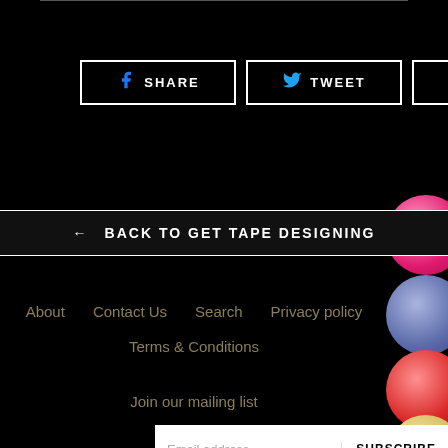[Figure (other): Social share buttons: SHARE (Facebook), TWEET (Twitter), PIN IT (Pinterest)]
← BACK TO GET TAPE DESIGNING
About   Contact Us   Search   Privacy policy
Terms & Conditions
Join our mailing list
Email address   SUBSCRIBE